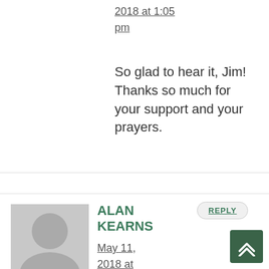2018 at 1:05 pm
So glad to hear it, Jim! Thanks so much for your support and your prayers.
ALAN KEARNS
May 11, 2018 at 5:14 pm
What a fantastic choice. This is a key and complex time in the organization. How will